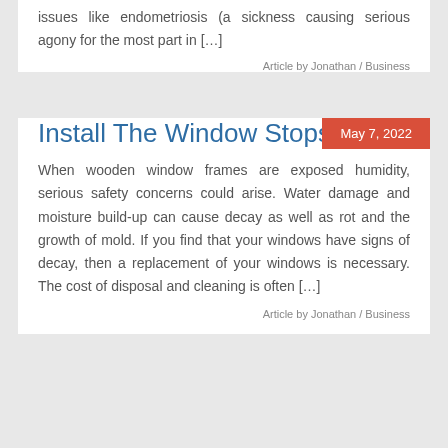issues like endometriosis (a sickness causing serious agony for the most part in […]
Article by Jonathan / Business
May 7, 2022
Install The Window Stops
When wooden window frames are exposed humidity, serious safety concerns could arise. Water damage and moisture build-up can cause decay as well as rot and the growth of mold. If you find that your windows have signs of decay, then a replacement of your windows is necessary. The cost of disposal and cleaning is often […]
Article by Jonathan / Business